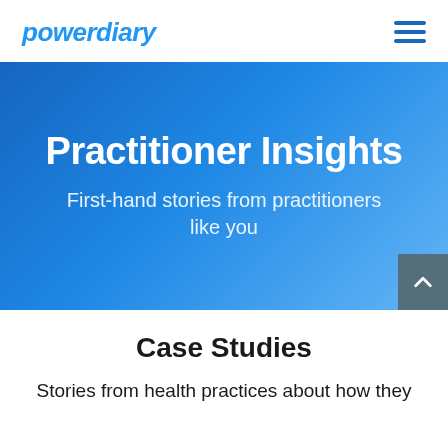powerdiary
Practitioner Insights
First-hand stories from practitioners like you
Case Studies
Stories from health practices about how they